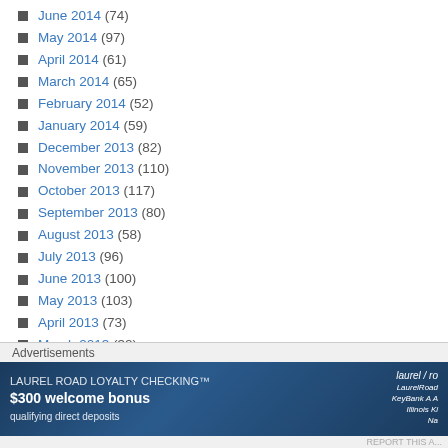June 2014 (74)
May 2014 (97)
April 2014 (61)
March 2014 (65)
February 2014 (52)
January 2014 (59)
December 2013 (82)
November 2013 (110)
October 2013 (117)
September 2013 (80)
August 2013 (58)
July 2013 (96)
June 2013 (100)
May 2013 (103)
April 2013 (73)
March 2013 (32)
February 2013 (35)
January 2013 (21)
December 2012 (11)
November 2012 (16)
October 2012 (17)
Advertisements